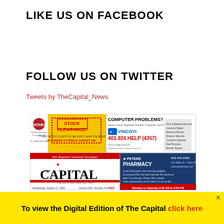LIKE US ON FACEBOOK
FOLLOW US ON TWITTER
Tweets by TheCapital_News
[Figure (screenshot): Newspaper front page of The Capital showing ads for Stock Clearance, Vincovi Computer Help, Peters Pharmacy, and the masthead 'THE CAPITAL - Your Regional Community Newspaper - Published in Three Hills since 1916 - Wednesday, August 17, 2022 - Volume 109 - Number 41 - FREE - www.threehillscapital.com']
To view the Digital Edition of The Capital click here